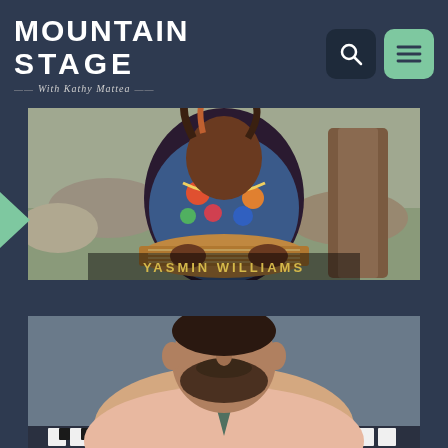[Figure (logo): Mountain Stage with Kathy Mattea logo — bold white stacked text with decorative subtitle in italic]
[Figure (photo): Yasmin Williams seated outdoors with a lap steel guitar, wearing a floral shirt, surrounded by rocks and trees]
YASMIN WILLIAMS
[Figure (photo): Male artist with beard wearing a pink shirt, photographed from mid-chest up in front of a piano]